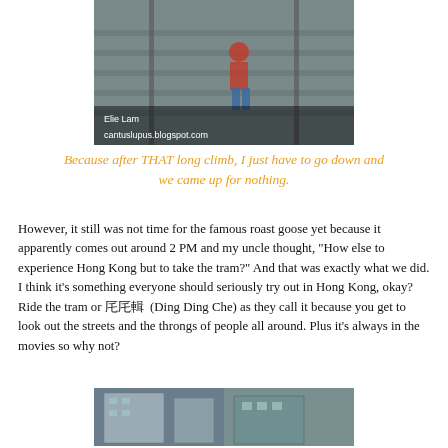[Figure (photo): Person walking down outdoor stairs, watermark 'Elie Lam cantuslupus.blogspot.com']
Because after THAT long climb, I just have to go down and we came up for nothing.
However, it still was not time for the famous roast goose yet because it apparently comes out around 2 PM and my uncle thought, "How else to experience Hong Kong but to take the tram?" And that was exactly what we did. I think it's something everyone should seriously try out in Hong Kong, okay? Ride the tram or 叮叮車 (Ding Ding Che) as they call it because you get to look out the streets and the throngs of people all around. Plus it's always in the movies so why not?
[Figure (photo): Street-level view of Hong Kong buildings and tram infrastructure]